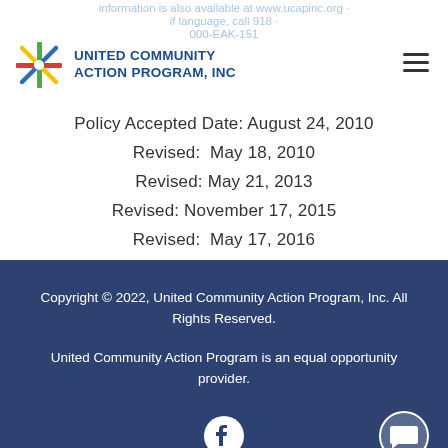information is also available at www.ucapinc.org · if language, call 918 · 000-EAK-151
[Figure (logo): United Community Action Program, Inc. logo with colorful cross/star symbol]
Policy Accepted Date: August 24, 2010
Revised:  May 18, 2010
Revised: May 21, 2013
Revised: November 17, 2015
Revised:  May 17, 2016
Revised:  March 20, 2018
Copyright © 2022, United Community Action Program, Inc. All Rights Reserved.

United Community Action Program is an equal opportunity provider.